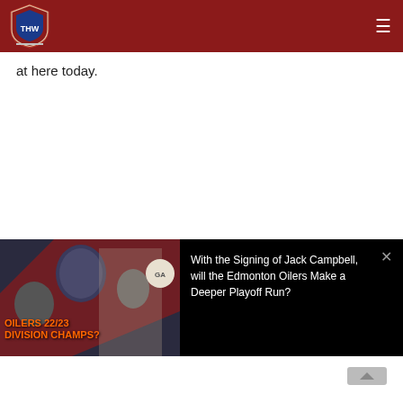THW - The Hockey Writers
at here today.
[Figure (screenshot): Video card with thumbnail showing Edmonton Oilers 22/23 Division Champs? and title: With the Signing of Jack Campbell, will the Edmonton Oilers Make a Deeper Playoff Run?]